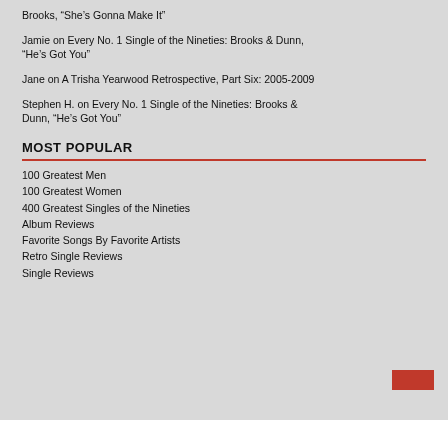Brooks, “She’s Gonna Make It”
Jamie on Every No. 1 Single of the Nineties: Brooks & Dunn, “He’s Got You”
Jane on A Trisha Yearwood Retrospective, Part Six: 2005-2009
Stephen H. on Every No. 1 Single of the Nineties: Brooks & Dunn, “He’s Got You”
MOST POPULAR
100 Greatest Men
100 Greatest Women
400 Greatest Singles of the Nineties
Album Reviews
Favorite Songs By Favorite Artists
Retro Single Reviews
Single Reviews